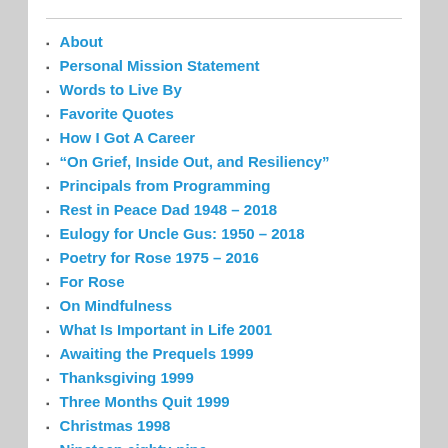About
Personal Mission Statement
Words to Live By
Favorite Quotes
How I Got A Career
“On Grief, Inside Out, and Resiliency”
Principals from Programming
Rest in Peace Dad 1948 – 2018
Eulogy for Uncle Gus: 1950 – 2018
Poetry for Rose 1975 – 2016
For Rose
On Mindfulness
What Is Important in Life 2001
Awaiting the Prequels 1999
Thanksgiving 1999
Three Months Quit 1999
Christmas 1998
Nineteen eighty-nine
Emacs Notes